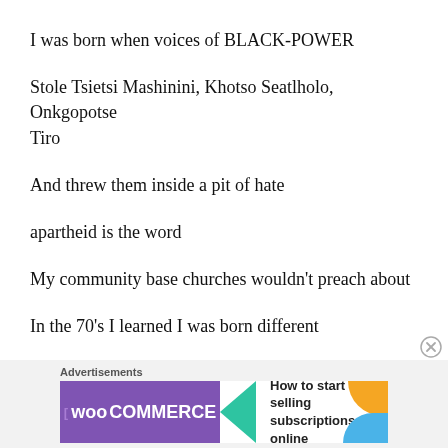I was born when voices of BLACK-POWER
Stole Tsietsi Mashinini, Khotso Seatlholo, Onkgopotse Tiro
And threw them inside a pit of hate
apartheid is the word
My community base churches wouldn't preach about
In the 70's I learned I was born different
[Figure (screenshot): WooCommerce advertisement banner with text 'How to start selling subscriptions online']